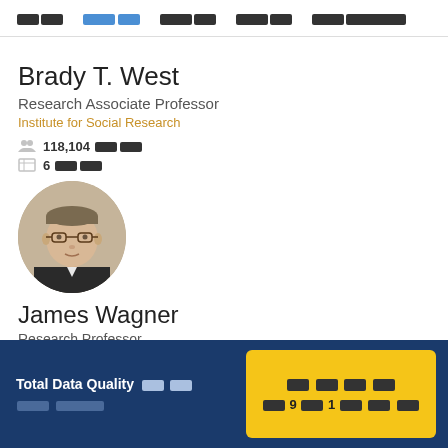□□  □□□□  □□□□  □□□□  □□□□□□□
Brady T. West
Research Associate Professor
Institute for Social Research
118,104 □□□
6 □□□
[Figure (photo): Profile photo of Brady T. West, a man with glasses and dark hair wearing a suit]
James Wagner
Research Professor
Total Data Quality □□□□ □□□□□  □□□□ □ 9□1□ □□